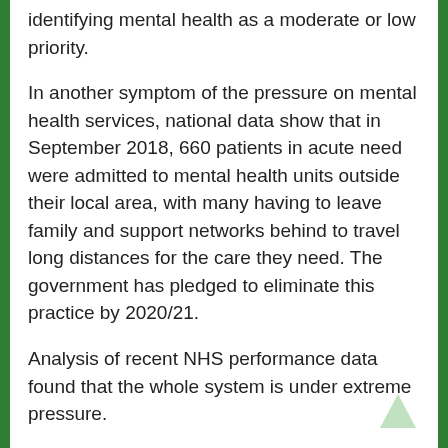identifying mental health as a moderate or low priority.
In another symptom of the pressure on mental health services, national data show that in September 2018, 660 patients in acute need were admitted to mental health units outside their local area, with many having to leave family and support networks behind to travel long distances for the care they need. The government has pledged to eliminate this practice by 2020/21.
Analysis of recent NHS performance data found that the whole system is under extreme pressure.
The number of emergency admissions to hospital in November increased by 6.3 per cent compared to the same time last year.